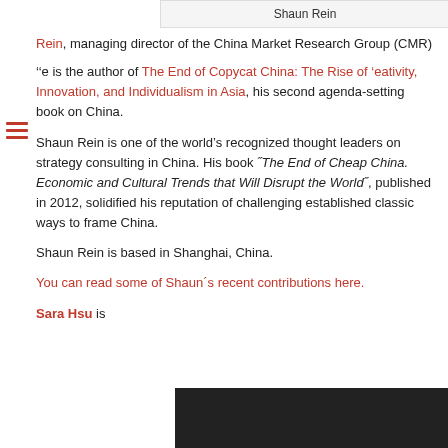Shaun Rein
Rein, managing director of the China Market Research Group (CMR)
He is the author of The End of Copycat China: The Rise of Creativity, Innovation, and Individualism in Asia, his second agenda-setting book on China.
Shaun Rein is one of the world's recognized thought leaders on strategy consulting in China. His book ˝The End of Cheap China. Economic and Cultural Trends that Will Disrupt the World˝, published in 2012, solidified his reputation of challenging established classic ways to frame China.
Shaun Rein is based in Shanghai, China.
You can read some of Shaun´s recent contributions here.
Sara Hsu is